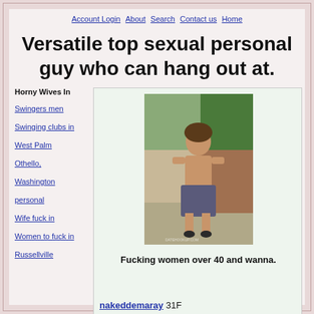Account Login  About  Search  Contact us  Home
Versatile top sexual personal guy who can hang out at.
Horny Wives In
Swingers men
Swinging clubs in
West Palm
Othello,
Washington
personal
Wife fuck in
Women to fuck in
Russellville
[Figure (photo): Profile photo of a person standing outdoors]
Fucking women over 40 and wanna.
nakeddemaray 31F